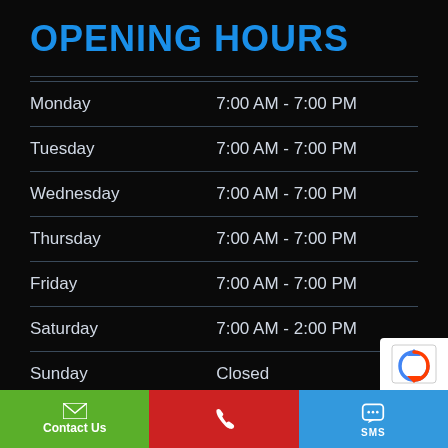OPENING HOURS
| Day | Hours |
| --- | --- |
| Monday | 7:00 AM - 7:00 PM |
| Tuesday | 7:00 AM - 7:00 PM |
| Wednesday | 7:00 AM - 7:00 PM |
| Thursday | 7:00 AM - 7:00 PM |
| Friday | 7:00 AM - 7:00 PM |
| Saturday | 7:00 AM - 2:00 PM |
| Sunday | Closed |
Contact Us | Phone | SMS